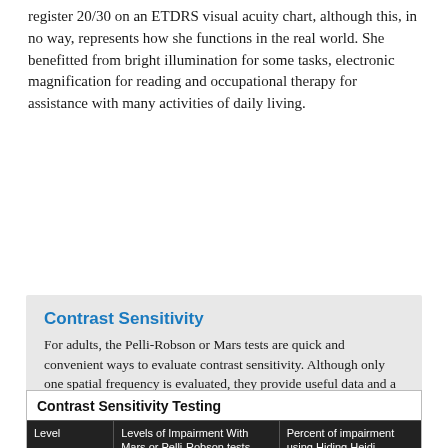register 20/30 on an ETDRS visual acuity chart, although this, in no way, represents how she functions in the real world. She benefitted from bright illumination for some tasks, electronic magnification for reading and occupational therapy for assistance with many activities of daily living.
Contrast Sensitivity
For adults, the Pelli-Robson or Mars tests are quick and convenient ways to evaluate contrast sensitivity. Although only one spatial frequency is evaluated, they provide useful data and a great opportunity to educate patients. The Hiding Heidi test is remarkable in assessing pediatric patients as young as two years.
Functional problems become evident when contrast sensitivity reaches the moderate or severe level of reduction from normal.
| Level | Levels of Impairment With Mars or Pelli-Robson tests (Weber contrast calculation) | Percent of impairment using Hiding Heidi (Michelson contrast calculation) |
| --- | --- | --- |